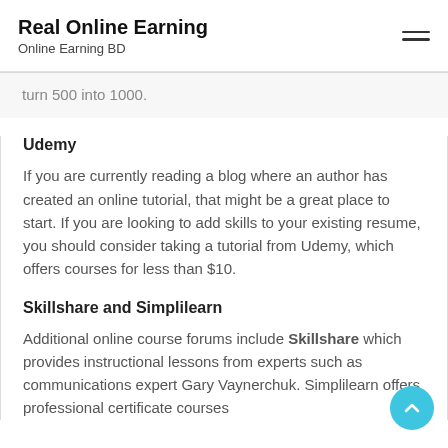Real Online Earning
Online Earning BD
turn 500 into 1000.
Udemy
If you are currently reading a blog where an author has created an online tutorial, that might be a great place to start. If you are looking to add skills to your existing resume, you should consider taking a tutorial from Udemy, which offers courses for less than $10.
Skillshare and Simplilearn
Additional online course forums include Skillshare which provides instructional lessons from experts such as communications expert Gary Vaynerchuk. Simplilearn offers professional certificate courses